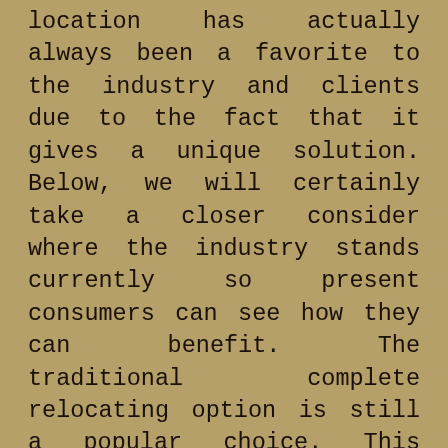location has actually always been a favorite to the industry and clients due to the fact that it gives a unique solution. Below, we will certainly take a closer consider where the industry stands currently so present consumers can see how they can benefit. The traditional complete relocating option is still a popular choice. This attribute allows consumers to hand off the relocating procedure to professional movers who can do these parts for them. This process includes packing products right into boxes and also cages, filling these boxes and crates into a moving truck or vehicles and also taking them to the consumer's new house where they will certainly be